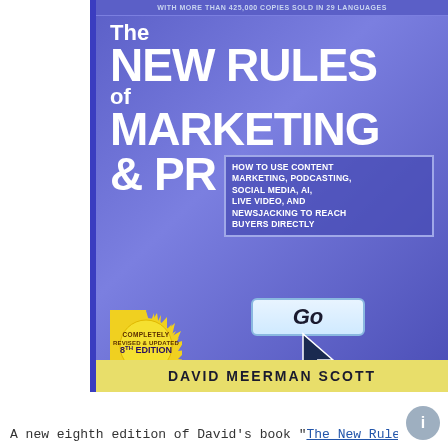[Figure (illustration): Book cover of 'The New Rules of Marketing & PR' 8th edition by David Meerman Scott. Blue/purple background with large white bold title text, subtitle box describing content marketing, podcasting, social media, AI, live video, and newsjacking. Gold starburst badge reading 'Completely Revised & Updated 8th Edition'. Yellow author bar at bottom. Go button with cursor graphic.]
A new eighth edition of David's book "The New Rules of